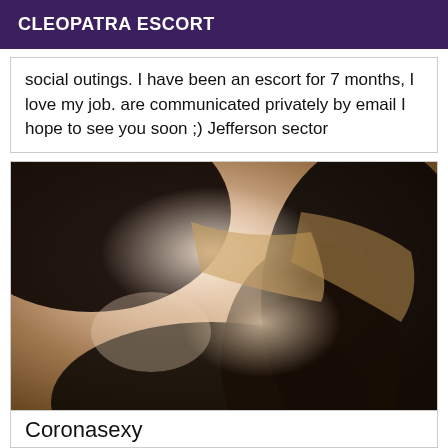CLEOPATRA ESCORT
social outings. I have been an escort for 7 months, I love my job. are communicated privately by email I hope to see you soon ;) Jefferson sector
[Figure (photo): Close-up blurred photo of a person wearing dark clothing, skin visible, intimate pose]
Coronnasevy